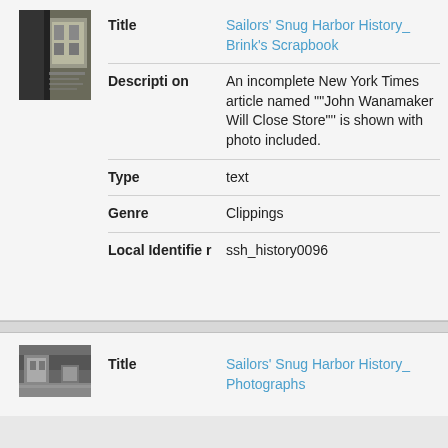[Figure (photo): Thumbnail image of scrapbook pages with architectural photo]
| Title | Sailors' Snug Harbor History_ Brink's Scrapbook |
| Description | An incomplete New York Times article named ""John Wanamaker Will Close Store"" is shown with photo included. |
| Type | text |
| Genre | Clippings |
| Local Identifier | ssh_history0096 |
[Figure (photo): Thumbnail image of a harbor/building scene photograph]
| Title | Sailors' Snug Harbor History_ Photographs |